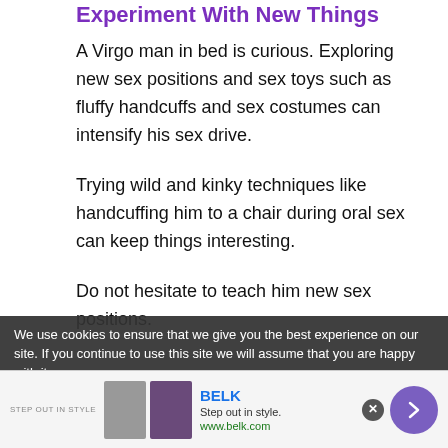Experiment With New Things
A Virgo man in bed is curious. Exploring new sex positions and sex toys such as fluffy handcuffs and sex costumes can intensify his sex drive.
Trying wild and kinky techniques like handcuffing him to a chair during oral sex can keep things interesting.
Do not hesitate to teach him new sex positions.
We use cookies to ensure that we give you the best experience on our site. If you continue to use this site we will assume that you are happy with it.
[Figure (screenshot): Advertisement banner for BELK - Step out in style. www.belk.com with product images and navigation arrow button]